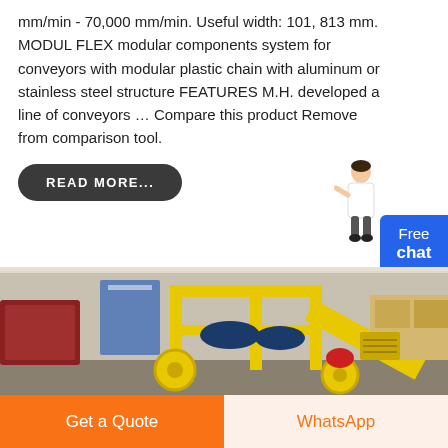mm/min - 70,000 mm/min. Useful width: 101, 813 mm. MODUL FLEX modular components system for conveyors with modular plastic chain with aluminum or stainless steel structure FEATURES M.H. developed a line of conveyors ... Compare this product Remove from comparison tool.
READ MORE...
[Figure (illustration): Small illustration of a female customer service assistant figure pointing, beside a blue 'Free chat' button]
[Figure (photo): Industrial conveyor equipment with yellow steel frame structure and rollers/belts in a factory setting]
Get a Quote
WhatsApp